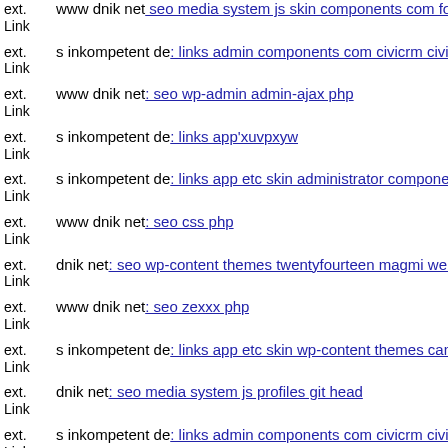ext. Link www dnik net: seo media system js skin components com foxcontact
ext. Link s inkompetent de: links admin components com civicrm civicrm
ext. Link www dnik net: seo wp-admin admin-ajax php
ext. Link s inkompetent de: links app'xuvpxyw
ext. Link s inkompetent de: links app etc skin administrator components
ext. Link www dnik net: seo css php
ext. Link dnik net: seo wp-content themes twentyfourteen magmi web in
ext. Link www dnik net: seo zexxx php
ext. Link s inkompetent de: links app etc skin wp-content themes canvas
ext. Link dnik net: seo media system js profiles git head
ext. Link s inkompetent de: links admin components com civicrm civicrm
ext. Link s inkompetent de: links admin administrator images mail inkom